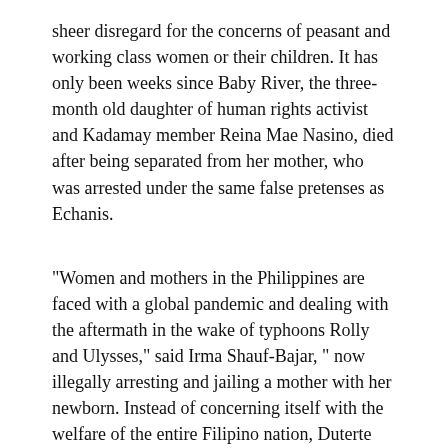sheer disregard for the concerns of peasant and working class women or their children. It has only been weeks since Baby River, the three-month old daughter of human rights activist and Kadamay member Reina Mae Nasino, died after being separated from her mother, who was arrested under the same false pretenses as Echanis.
“Women and mothers in the Philippines are faced with a global pandemic and dealing with the aftermath in the wake of typhoons Rolly and Ulysses,” said Irma Shauf-Bajar, “ now illegally arresting and jailing a mother with her newborn. Instead of concerning itself with the welfare of the entire Filipino nation, Duterte focuses time, energy and resources on these targeted and fascist attacks against defenders of human rights in the Philippines.”